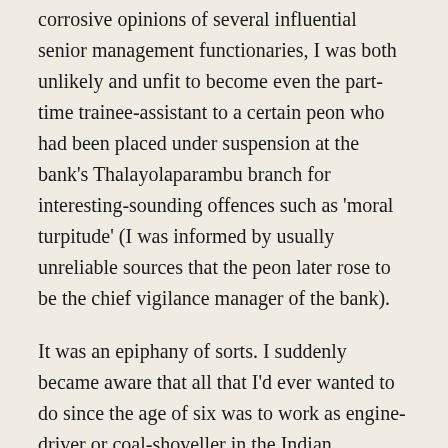corrosive opinions of several influential senior management functionaries, I was both unlikely and unfit to become even the part-time trainee-assistant to a certain peon who had been placed under suspension at the bank's Thalayolaparambu branch for interesting-sounding offences such as 'moral turpitude' (I was informed by usually unreliable sources that the peon later rose to be the chief vigilance manager of the bank).
It was an epiphany of sorts. I suddenly became aware that all that I'd ever wanted to do since the age of six was to work as engine-driver or coal-shoveller in the Indian Railways—preferably on the